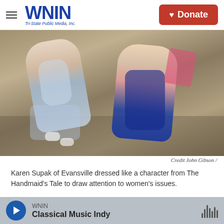WNIN Tri-State Public Media, Inc.
[Figure (photo): Two women at an outdoor event; one dressed in costume resembling a character from The Handmaid's Tale, holding a microphone, with another woman beside her on a tiled/brick surface.]
Credit John Gibson /
Karen Supak of Evansville dressed like a character from The Handmaid's Tale to draw attention to women's issues.
Tags  Local News  Ford Center  President Donald Trump  Protest
WNIN Classical Music Indy